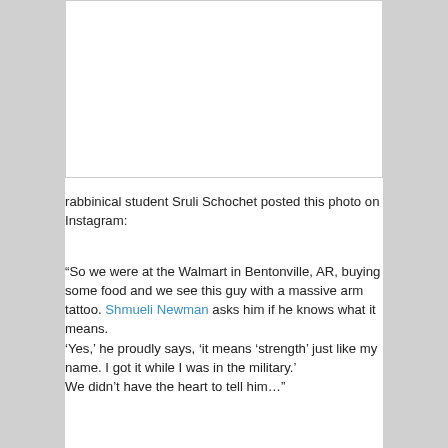[Figure (photo): A white/blank image placeholder area with a thin border]
rabbinical student Sruli Schochet posted this photo on Instagram:
“So we were at the Walmart in Bentonville, AR, buying some food and we see this guy with a massive arm tattoo. Shmueli Newman asks him if he knows what it means. ‘Yes,’ he proudly says, ‘it means ‘strength’ just like my name. I got it while I was in the military.’ We didn’t have the heart to tell him…”